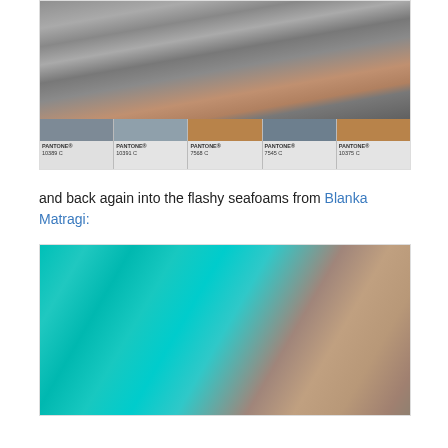[Figure (photo): Top portion of a photo showing gray textured fabric/cushion with brown wooden element, followed by a row of five Pantone color swatches: PANTONE 10389 C (blue-gray), PANTONE 10391 C (lighter blue-gray), PANTONE 7568 C (tan/brown), PANTONE 7545 C (dark blue-gray), PANTONE 10375 C (tan/brown)]
and back again into the flashy seafoams from Blanka Matragi:
[Figure (photo): Fashion photo of a model in a flowing turquoise/seafoam dress that billows dramatically, sitting in a pose against a neutral gray background. The dress is vibrant teal-turquoise.]